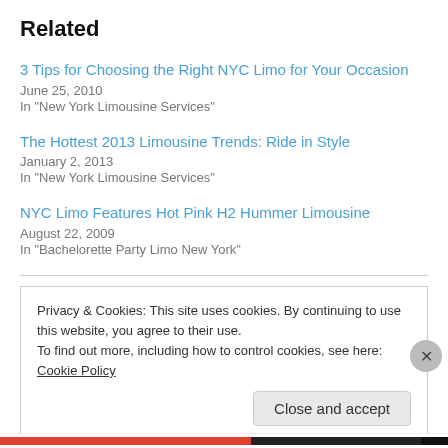Related
3 Tips for Choosing the Right NYC Limo for Your Occasion
June 25, 2010
In "New York Limousine Services"
The Hottest 2013 Limousine Trends: Ride in Style
January 2, 2013
In "New York Limousine Services"
NYC Limo Features Hot Pink H2 Hummer Limousine
August 22, 2009
In "Bachelorette Party Limo New York"
Privacy & Cookies: This site uses cookies. By continuing to use this website, you agree to their use.
To find out more, including how to control cookies, see here: Cookie Policy